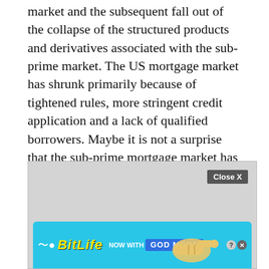market and the subsequent fall out of the collapse of the structured products and derivatives associated with the sub-prime market. The US mortgage market has shrunk primarily because of tightened rules, more stringent credit application and a lack of qualified borrowers. Maybe it is not a surprise that the sub-prime mortgage market has effectively been replaced by student loans, car loans and a myriad of other banking products that have allowed overall credit to expand in the US even as the mortgage market shrunk.
[Figure (other): Advertisement area with gray background. Contains a 'Close X' button and a BitLife 'NOW WITH GOD MODE' advertisement banner at the bottom with cyan/blue background, yellow logo text, and a hand/pointing finger graphic.]